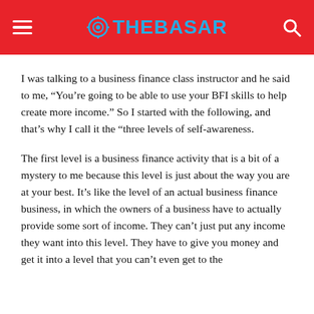THEBASAR
I was talking to a business finance class instructor and he said to me, “You’re going to be able to use your BFI skills to help create more income.” So I started with the following, and that’s why I call it the “three levels of self-awareness.
The first level is a business finance activity that is a bit of a mystery to me because this level is just about the way you are at your best. It’s like the level of an actual business finance business, in which the owners of a business have to actually provide some sort of income. They can’t just put any income they want into this level. They have to give you money and get it into a level that you can’t even get to the